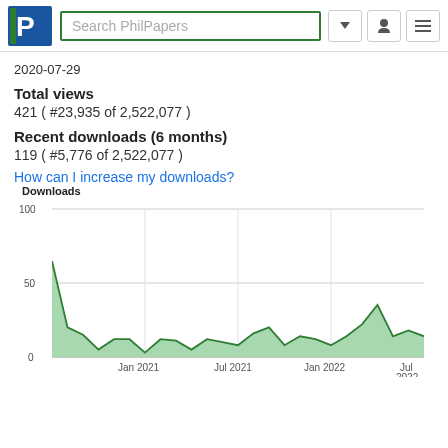Search PhilPapers
2020-07-29
Total views
421 ( #23,935 of 2,522,077 )
Recent downloads (6 months)
119 ( #5,776 of 2,522,077 )
How can I increase my downloads?
[Figure (area-chart): Downloads]